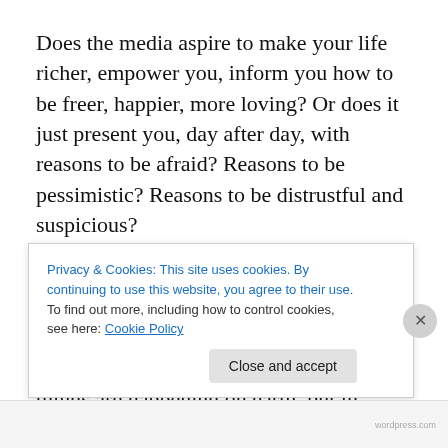Does the media aspire to make your life richer, empower you, inform you how to be freer, happier, more loving? Or does it just present you, day after day, with reasons to be afraid? Reasons to be pessimistic? Reasons to be distrustful and suspicious?
Some people may say ‘well the media is just showing the facts of reality, because these bad things are happening on earth, and the world is in turmoil..” Yes, bad things are happening on earth, but in terms of ‘world events’ they are
Privacy & Cookies: This site uses cookies. By continuing to use this website, you agree to their use.
To find out more, including how to control cookies, see here: Cookie Policy